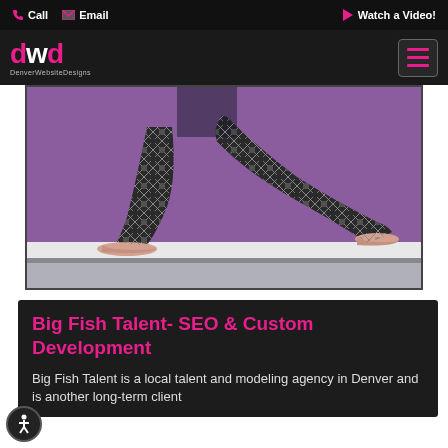Call  Email  Watch a Video!
[Figure (logo): DWD - DenverWebsiteDesigns logo with pink and white lettering]
[Figure (photo): Person in patterned yoga pants doing a lunge stretch against a purple wall]
Big Fish Talent- SEO & Custom Development
Big Fish Talent is a local talent and modeling agency in Denver and is another long-term client